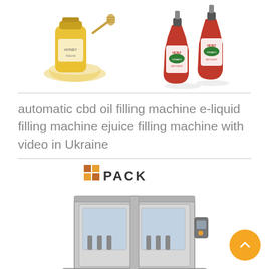[Figure (photo): Honey jar with honey dipper and bowl of honey]
[Figure (photo): Two Heinz Tomato Ketchup bottles]
automatic cbd oil filling machine e-liquid filling machine ejuice filling machine with video in Ukraine
[Figure (logo): PACK logo with orange/brown square grid icon]
[Figure (photo): Industrial automatic filling machine, metallic/gray, front view]